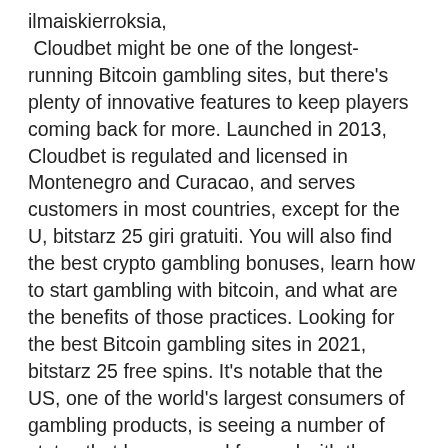ilmaiskierroksia,  Cloudbet might be one of the longest-running Bitcoin gambling sites, but there's plenty of innovative features to keep players coming back for more. Launched in 2013, Cloudbet is regulated and licensed in Montenegro and Curacao, and serves customers in most countries, except for the U, bitstarz 25 giri gratuiti. You will also find the best crypto gambling bonuses, learn how to start gambling with bitcoin, and what are the benefits of those practices. Looking for the best Bitcoin gambling sites in 2021, bitstarz 25 free spins. It's notable that the US, one of the world's largest consumers of gambling products, is seeing a number of states that have moved forward with the legalization of online casino gambling and online sports betting for its residents, bitstarz 25 ücretsiz döndürme. Given the huge tax revenue incentives for the states associated with gambling legislation, a number b...